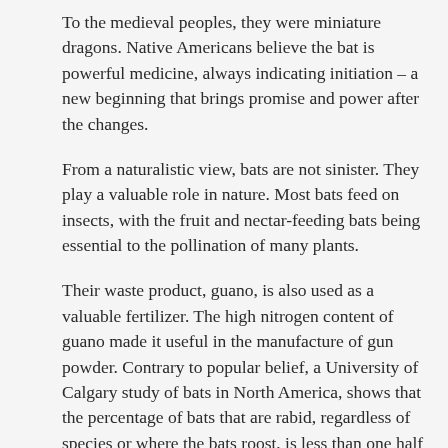To the medieval peoples, they were miniature dragons. Native Americans believe the bat is powerful medicine, always indicating initiation – a new beginning that brings promise and power after the changes.
From a naturalistic view, bats are not sinister. They play a valuable role in nature. Most bats feed on insects, with the fruit and nectar-feeding bats being essential to the pollination of many plants.
Their waste product, guano, is also used as a valuable fertilizer. The high nitrogen content of guano made it useful in the manufacture of gun powder. Contrary to popular belief, a University of Calgary study of bats in North America, shows that the percentage of bats that are rabid, regardless of species or where the bats roost, is less than one half of 1%.
Individuals of some bat species can capture 500 – 1,000 mosquitoes in a single hour, with large colonies consuming